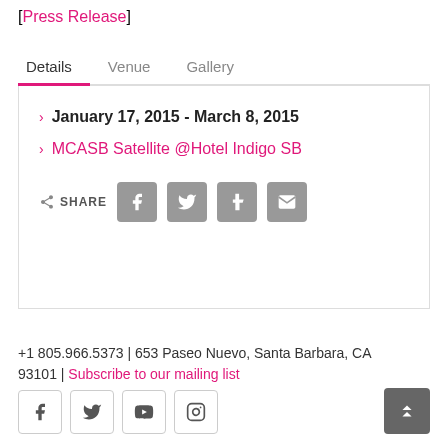[Press Release]
Details | Venue | Gallery (tabs)
January 17, 2015 - March 8, 2015
MCASB Satellite @Hotel Indigo SB
SHARE (social share buttons: Facebook, Twitter, Tumblr, Email)
+1 805.966.5373 | 653 Paseo Nuevo, Santa Barbara, CA 93101 | Subscribe to our mailing list
Footer social icons: Facebook, Twitter, YouTube, Instagram